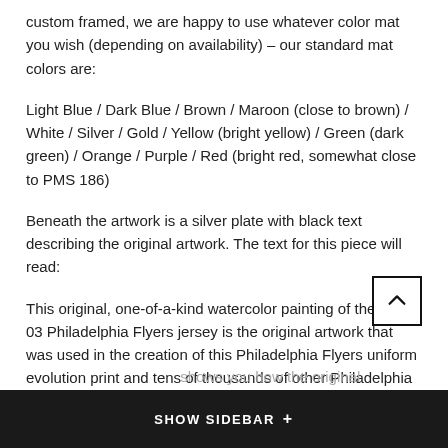custom framed, we are happy to use whatever color mat you wish (depending on availability) – our standard mat colors are:
Light Blue / Dark Blue / Brown / Maroon (close to brown) / White / Silver / Gold / Yellow (bright yellow) / Green (dark green) / Orange / Purple / Red (bright red, somewhat close to PMS 186)
Beneath the artwork is a silver plate with black text describing the original artwork. The text for this piece will read:
This original, one-of-a-kind watercolor painting of the 2002-03 Philadelphia Flyers jersey is the original artwork that was used in the creation of this Philadelphia Flyers uniform evolution print and tens of thousands of other Philadelphia Flyers products that have been sold across North America. This original piece of art was painted by artist Tino Paolini for Maple Leaf Productions Ltd.
Beneath the silver plate is a 3" x 9" reproduction of a well known, best-selling print that celebrates the history of the team. The print beautifully illustrates the chronological evolution of the ... shows you how the original
SHOW SIDEBAR +